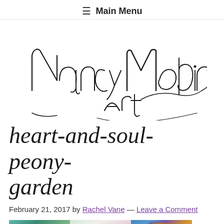≡ Main Menu
[Figure (logo): Nancy Medina Art cursive calligraphic logo in black ink on white background]
heart-and-soul-peony-garden
February 21, 2017 by Rachel Vane — Leave a Comment
[Figure (photo): Three panel collage of artwork and flowers: left panel shows painted floral/landscape canvases in teal and earth tones, center panel shows vivid pink peonies with a gold-framed painting, right panel shows colorful sunflowers and fruit still life in blue vase]